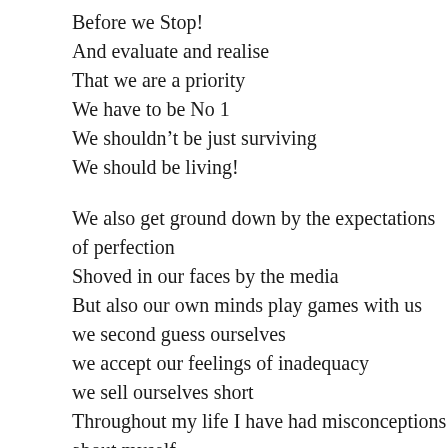Before we Stop!
And evaluate and realise
That we are a priority
We have to be No 1
We shouldn't be just surviving
We should be living!

We also get ground down by the expectations of perfection
Shoved in our faces by the media
But also our own minds play games with us
we second guess ourselves
we accept our feelings of inadequacy
we sell ourselves short
Throughout my life I have had misconceptions about myself